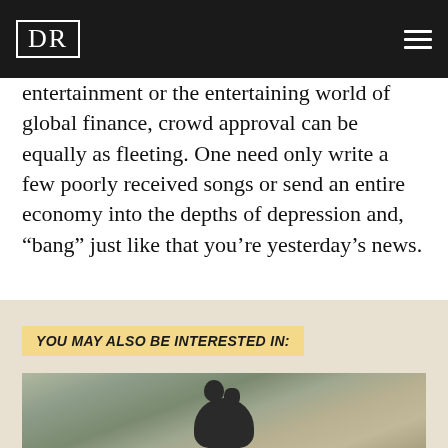DR
entertainment or the entertaining world of global finance, crowd approval can be equally as fleeting. One need only write a few poorly received songs or send an entire economy into the depths of depression and, “bang” just like that you’re yesterday’s news.
YOU MAY ALSO BE INTERESTED IN:
[Figure (photo): Photograph of an animal (appears to be a dark-colored bear or similar creature) in an outdoor sandy/earthy setting, partially visible at the bottom of the page.]